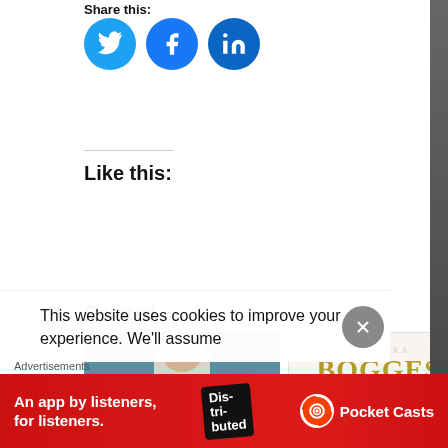Share this:
[Figure (illustration): Three social media share buttons: Twitter (blue bird icon), Facebook (blue 'f' icon), LinkedIn (blue 'in' icon)]
Like this:
Related
[Figure (photo): A blonde person in a white top against a teal/grey background]
[Figure (illustration): Album cover for 'BOGGESS' - Sierra Boggess, with gold serif text on white background and woman in pink dress]
This website uses cookies to improve your experience. We'll assume
Advertisements
[Figure (infographic): Red advertisement banner for Pocket Casts app: 'An app by listeners, for listeners.' with phone showing 'Dis-tri-buted' text and Pocket Casts logo]